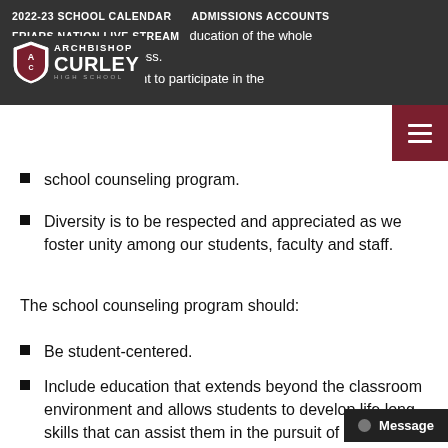2022-23 SCHOOL CALENDAR   ADMISSIONS ACCOUNTS   FRIARS NATION LIVE STREAM
school counseling program.
Diversity is to be respected and appreciated as we foster unity among our students, faculty and staff.
The school counseling program should:
Be student-centered.
Include education that extends beyond the classroom environment and allows students to develop life long skills that can assist them in the pursuit of their life goals.
Consider all students' ethnic, cultural, racial, spiritual, and special needs when planning and